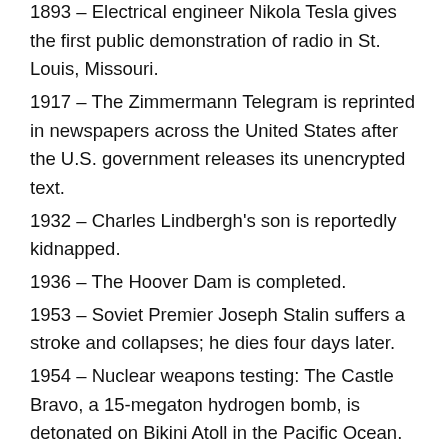1893 – Electrical engineer Nikola Tesla gives the first public demonstration of radio in St. Louis, Missouri.
1917 – The Zimmermann Telegram is reprinted in newspapers across the United States after the U.S. government releases its unencrypted text.
1932 – Charles Lindbergh's son is reportedly kidnapped.
1936 – The Hoover Dam is completed.
1953 – Soviet Premier Joseph Stalin suffers a stroke and collapses; he dies four days later.
1954 – Nuclear weapons testing: The Castle Bravo, a 15-megaton hydrogen bomb, is detonated on Bikini Atoll in the Pacific Ocean.